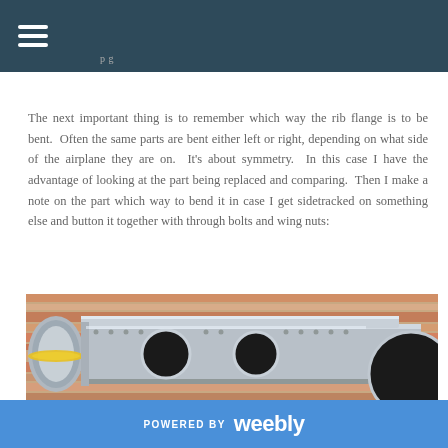The next important thing is to remember which way the rib flange is to be bent.  Often the same parts are bent either left or right, depending on what side of the airplane they are on.  It's about symmetry.  In this case I have the advantage of looking at the part being replaced and comparing.  Then I make a note on the part which way to bend it in case I get sidetracked on something else and button it together with through bolts and wing nuts:
[Figure (photo): Photograph of aluminum aircraft rib parts with lightening holes, laid on a wooden workbench. The metal parts show circular holes punched through them, typical of aircraft rib construction. Parts are held together with through bolts.]
POWERED BY weebly